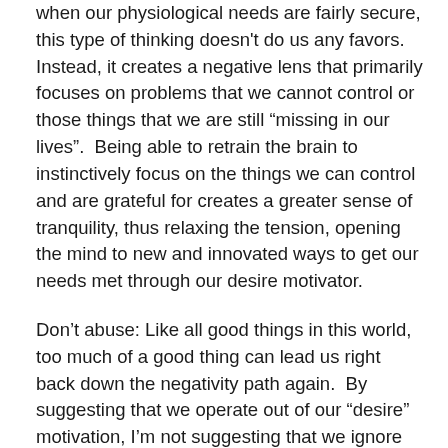when our physiological needs are fairly secure, this type of thinking doesn't do us any favors. Instead, it creates a negative lens that primarily focuses on problems that we cannot control or those things that we are still “missing in our lives”. Being able to retrain the brain to instinctively focus on the things we can control and are grateful for creates a greater sense of tranquility, thus relaxing the tension, opening the mind to new and innovated ways to get our needs met through our desire motivator.
Don’t abuse: Like all good things in this world, too much of a good thing can lead us right back down the negativity path again. By suggesting that we operate out of our “desire” motivation, I’m not suggesting that we ignore all the rules and moral guidelines and become hedonistic. Rather, I am simply pointing out that on the spectrum of motivation, many of us act far too often from